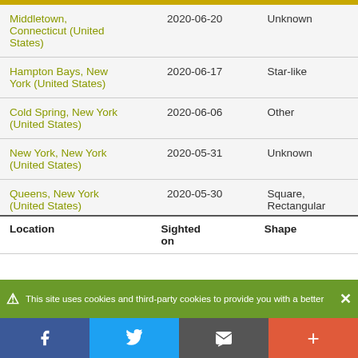| Location | Sighted on | Shape |
| --- | --- | --- |
| Middletown, Connecticut (United States) | 2020-06-20 | Unknown |
| Hampton Bays, New York (United States) | 2020-06-17 | Star-like |
| Cold Spring, New York (United States) | 2020-06-06 | Other |
| New York, New York (United States) | 2020-05-31 | Unknown |
| Queens, New York (United States) | 2020-05-30 | Square, Rectangular |
This site uses cookies and third-party cookies to provide you with a better